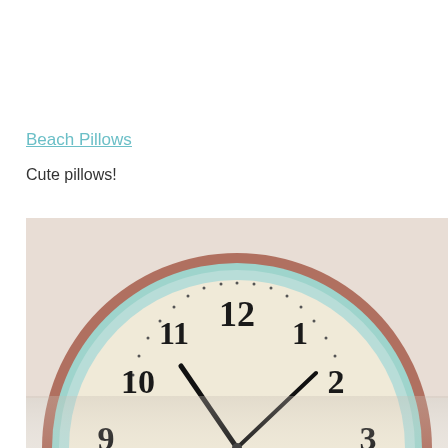Beach Pillows
Cute pillows!
[Figure (photo): A vintage-style round wall clock with a distressed mint/teal and copper rim, cream face with black Arabic numerals (9, 10, 11, 12, 1, 2, 3 visible), dotted minute markers, and black hands pointing to approximately 10:10. The bottom portion of the clock is reflected as if on a glass or mirrored surface.]